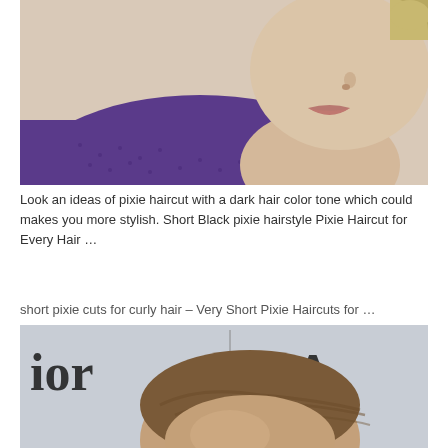[Figure (photo): Close-up photo of a woman's face with blonde hair and purple turtleneck sweater, cropped to show nose and lips]
Look an ideas of pixie haircut with a dark hair color tone which could makes you more stylish. Short Black pixie hairstyle Pixie Haircut for Every Hair …
short pixie cuts for curly hair – Very Short Pixie Haircuts for …
[Figure (photo): Photo of a person with short brown pixie haircut at what appears to be a Dior event, with 'ior' and 'MA' branding visible in the background]